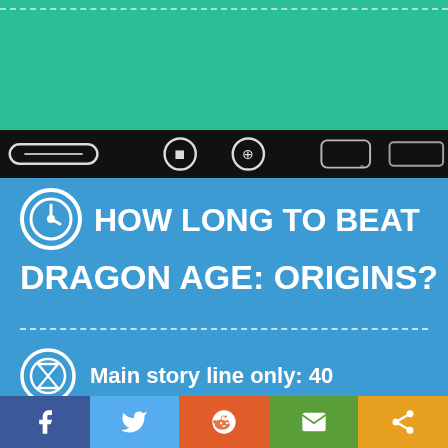[Figure (infographic): Green header background with dashed white border at top]
[Figure (infographic): Black banner strip with white sketched game controller icons]
HOW LONG TO BEAT DRAGON AGE: ORIGINS?
Main story line only: 40
Completionists: 86
[Figure (infographic): Social share bar with Facebook, Twitter, Reddit, Email, and Share buttons]